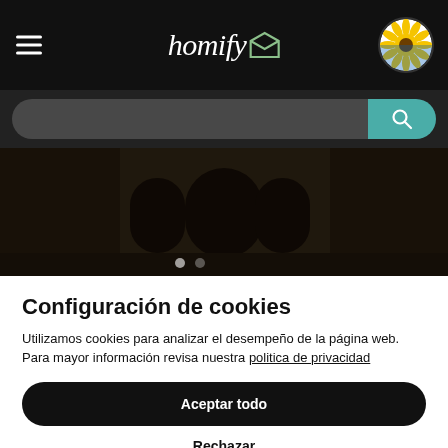[Figure (screenshot): Black navigation bar with hamburger menu on left, 'homify' logo in center with envelope icon, and Ukraine sunflower badge on right]
[Figure (screenshot): Dark search bar with rounded input field and teal search button]
[Figure (photo): Darkened interior architectural photo showing arched doorways and hallway]
Configuración de cookies
Utilizamos cookies para analizar el desempeño de la página web. Para mayor información revisa nuestra politica de privacidad
Aceptar todo
Rechazar